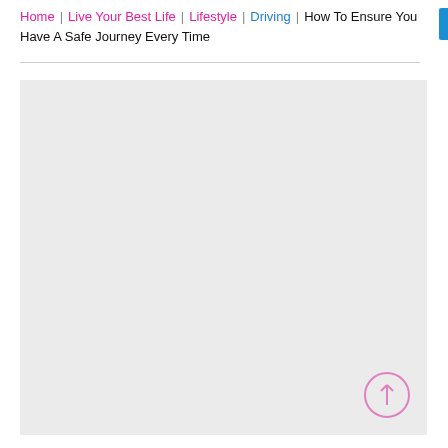Home | Live Your Best Life | Lifestyle | Driving | How To Ensure You Have A Safe Journey Every Time
[Figure (other): Large light grey placeholder image area occupying most of the page below the breadcrumb navigation]